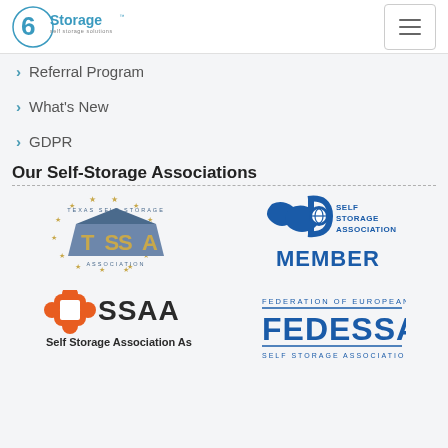[Figure (logo): 6Storage self storage solutions logo - circular blue icon with '6' and 'Storage' text]
[Figure (other): Hamburger menu button icon with three horizontal lines]
> Referral Program
> What's New
> GDPR
Our Self-Storage Associations
[Figure (logo): TSSA - Texas Self Storage Association logo with building and stars]
[Figure (logo): SSA - Self Storage Association MEMBER logo in blue]
[Figure (logo): SSAA - Self Storage Association Asia logo with orange flower icon]
[Figure (logo): FEDESSA - Federation of European Self Storage Associations logo in blue]